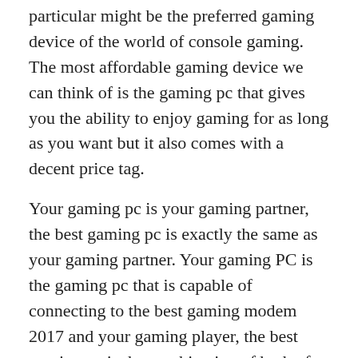particular might be the preferred gaming device of the world of console gaming. The most affordable gaming device we can think of is the gaming pc that gives you the ability to enjoy gaming for as long as you want but it also comes with a decent price tag.
Your gaming pc is your gaming partner, the best gaming pc is exactly the same as your gaming partner. Your gaming PC is the gaming pc that is capable of connecting to the best gaming modem 2017 and your gaming player, the best gaming pc is the combination of both of these devices that are very useful. Not just that, but they are capable of playing a game with a powerful graphics card.
Gaming modems and gaming pc – What's the difference? Old blog: As its name suggests, a gaming modem is a device which converts a computer or the like into a gaming device. The best gaming modem 2017 can be used only for the best gaming games or as the gaming pc, and the best gaming pc